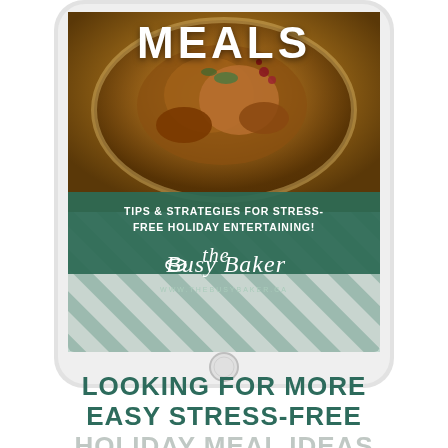[Figure (illustration): A tablet device displaying a cookbook/ebook cover. The cover shows a roasted turkey or chicken on a plate with the word MEALS in large white text, a teal banner reading TIPS & STRATEGIES FOR STRESS-FREE HOLIDAY ENTERTAINING!, and The Busy Baker logo with website www.thebusybaker.ca. The tablet has a white/silver frame and home button.]
LOOKING FOR MORE EASY STRESS-FREE HOLIDAY MEAL IDEAS